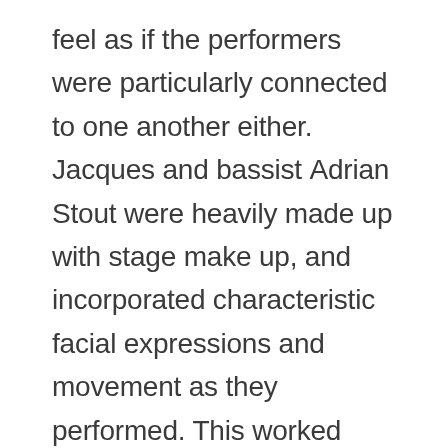feel as if the performers were particularly connected to one another either. Jacques and bassist Adrian Stout were heavily made up with stage make up, and incorporated characteristic facial expressions and movement as they performed. This worked well with the band's alternative cabaret style, and kept me engaged when my interest in the songs began to fade. Mike Pickering on the drums however, was wearing minimal make up and performed almost entirely naturalistically. While I was aware that this was doing the expression to their...